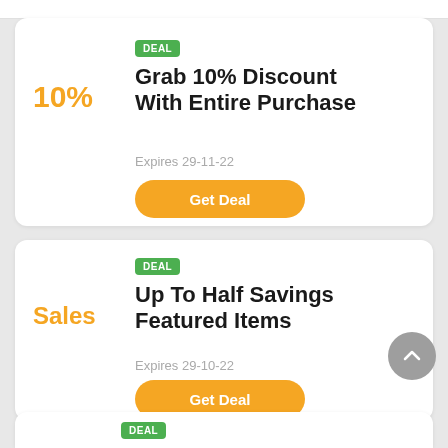[Figure (screenshot): Mobile app deal card: 10% discount deal with 'DEAL' badge, title 'Grab 10% Discount With Entire Purchase', expiry 29-11-22, and Get Deal button]
[Figure (screenshot): Mobile app deal card: Sales deal with 'DEAL' badge, title 'Up To Half Savings Featured Items', expiry 29-10-22, and Get Deal button with scroll-up button]
[Figure (screenshot): Partial mobile app deal card at bottom showing DEAL badge]